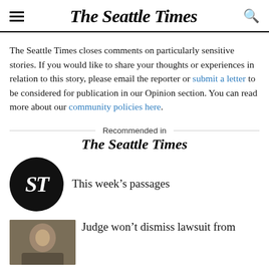The Seattle Times
The Seattle Times closes comments on particularly sensitive stories. If you would like to share your thoughts or experiences in relation to this story, please email the reporter or submit a letter to be considered for publication in our Opinion section. You can read more about our community policies here.
Recommended in The Seattle Times
This week's passages
Judge won't dismiss lawsuit from